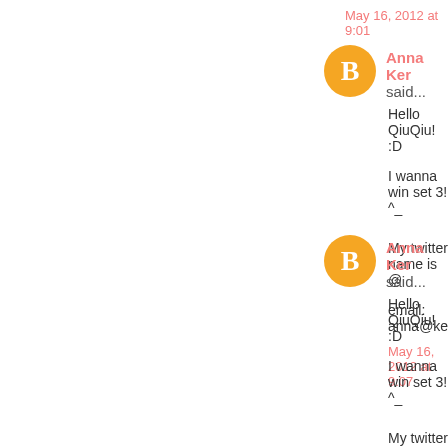May 16, 2012 at 9:01
Anna Ker said...
Hello QiuQiu! :D

I wanna win set 3! ^_

My twitter name is @

email: anna@ker.sg
May 16, 2012 at 9:07
Anna Ker said...
Hello QiuQiu! :D

I wanna win set 3! ^_

My twitter name is @

email: anna@ker.sg
May 16, 2012 at 9:07